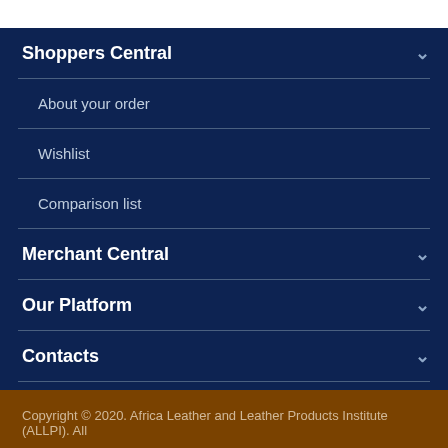Shoppers Central
About your order
Wishlist
Comparison list
Merchant Central
Our Platform
Contacts
Copyright © 2020. Africa Leather and Leather Products Institute (ALLPI). All